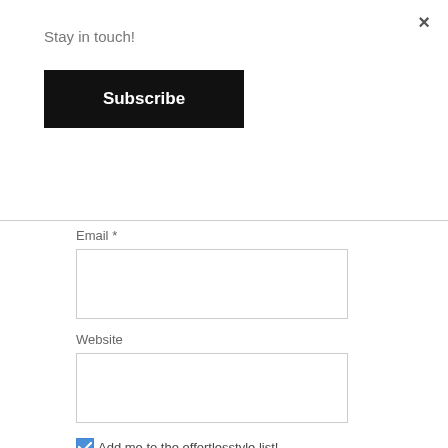Stay in touch!
Subscribe
Email *
Website
Add me to the effortlesstyle list!
POST COMMENT
KATIE RUSHTON